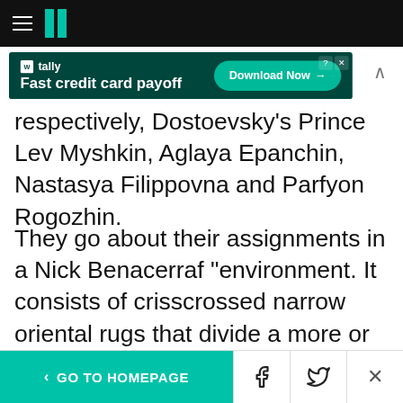HuffPost navigation header with hamburger menu and logo
[Figure (screenshot): Tally advertisement banner: 'Fast credit card payoff' with Download Now button]
respectively, Dostoevsky's Prince Lev Myshkin, Aglaya Epanchin, Nastasya Filippovna and Parfyon Rogozhin.
They go about their assignments in a Nick Benacerraf "environment. It consists of crisscrossed narrow oriental rugs that divide a more or less square room at HERE. Also featured are four beaded curtains as doors and one stage, where the characters can talk into a microphone,
< GO TO HOMEPAGE